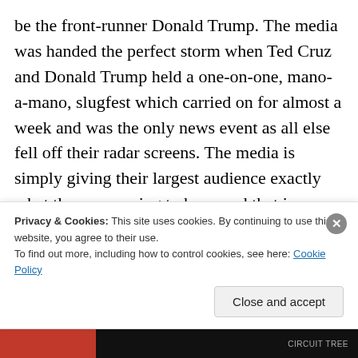be the front-runner Donald Trump. The media was handed the perfect storm when Ted Cruz and Donald Trump held a one-on-one, mano-a-mano, slugfest which carried on for almost a week and was the only news event as all else fell off their radar screens. The media is simply giving their largest audience exactly what they are paying to hear, and that is whatever is the most sensationalistic and bombastic news with all the gory details and particulars their money can buy. The media live and breathe in the cities and the media which has a much larger area to cover is completely different and that is what conservative talk
Privacy & Cookies: This site uses cookies. By continuing to use this website, you agree to their use.
To find out more, including how to control cookies, see here: Cookie Policy
Close and accept